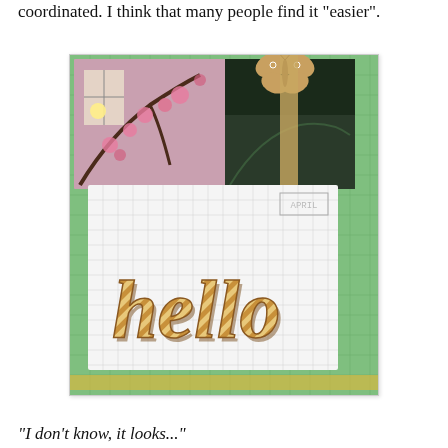coordinated. I think that many people find it "easier".
[Figure (photo): A crafting scene on a green cutting mat showing a white card with a cork/chipboard 'hello' word die cut decorated with diagonal stripes, alongside photos of cherry blossoms and a dark outdoor scene, with a small butterfly embellishment at the top.]
"I don't know, it looks..."